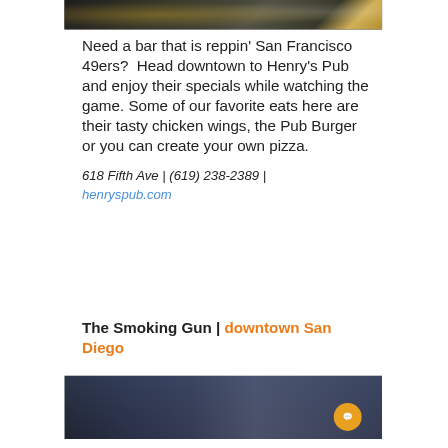[Figure (photo): Top portion of a food/bar photo showing dishes on a dark table, partially cropped]
Need a bar that is reppin' San Francisco 49ers?  Head downtown to Henry's Pub and enjoy their specials while watching the game. Some of our favorite eats here are their tasty chicken wings, the Pub Burger or you can create your own pizza.
618 Fifth Ave | (619) 238-2389 | henryspub.com
The Smoking Gun | downtown San Diego
[Figure (photo): Exterior/interior photo of The Smoking Gun bar with large windows and patrons holding drinks, with a yellow chat bubble icon overlay]